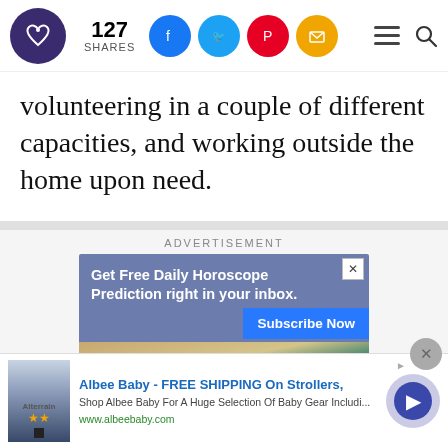127 SHARES [social share icons: Facebook, Twitter, Pinterest, Email] [hamburger menu] [search]
volunteering in a couple of different capacities, and working outside the home upon need.
[Figure (infographic): Advertisement banner: 'Get Free Daily Horoscope Prediction right in your inbox. Subscribe Now' with zodiac clock image background]
[Figure (infographic): Bottom ad bar: Albee Baby - FREE SHIPPING On Strollers, Shop Albee Baby For A Huge Selection Of Baby Gear Includi... www.albeebaby.com, with Alterrain ad thumbnail and navigation arrow]